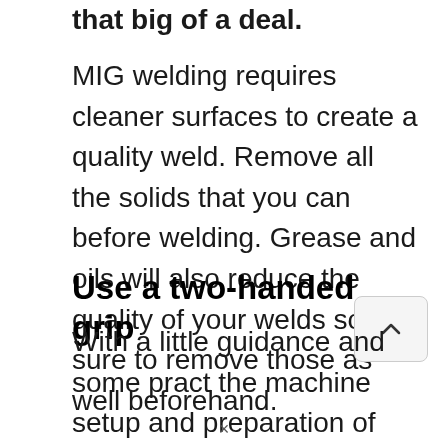that big of a deal.
MIG welding requires cleaner surfaces to create a quality weld. Remove all the solids that you can before welding. Grease and oils will also reduce the quality of your welds so be sure to remove those as well beforehand.
Use a two-handed grip
With a little guidance and some pract the machine setup and preparation of the material is something you will be able